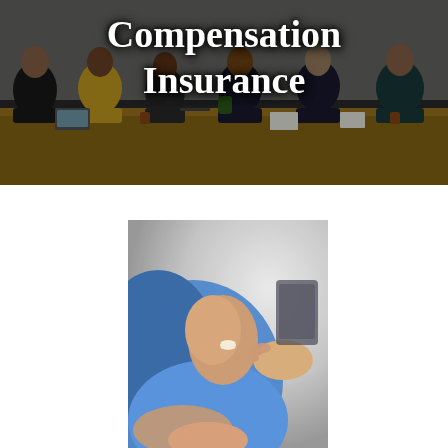[Figure (photo): Group of diverse people sitting around a conference table in an office setting, with laptops and papers, blurred background]
Compensation Insurance
[Figure (photo): Close-up of a person in a blue t-shirt getting an injection or medical examination on their shoulder/arm by a healthcare provider's hands]